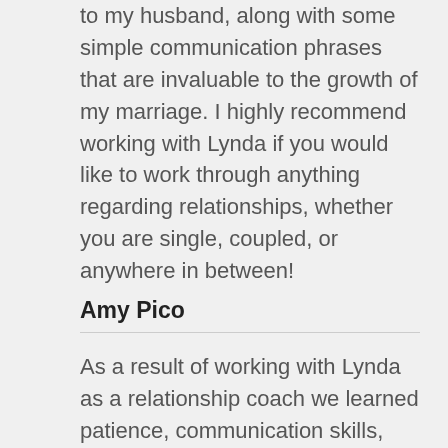to my husband, along with some simple communication phrases that are invaluable to the growth of my marriage. I highly recommend working with Lynda if you would like to work through anything regarding relationships, whether you are single, coupled, or anywhere in between!
Amy Pico
As a result of working with Lynda as a relationship coach we learned patience, communication skills, how to apologize, how to take ownership, how to not be selfish. We learned what's really important in life!